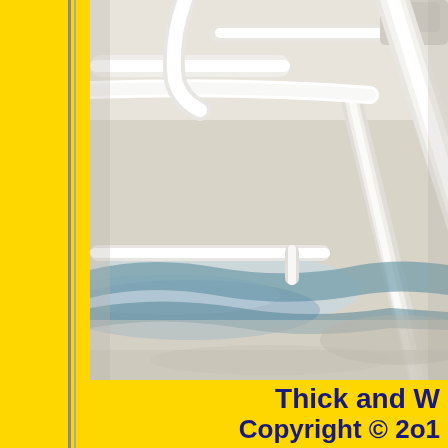[Figure (photo): Close-up photo of white pool lounge chairs with striped blue and white fabric/towels on what appears to be a sandy or concrete surface near a pool. The image is partially cropped, showing the chairs from a low angle.]
Thick and W
Copyright © 2o1